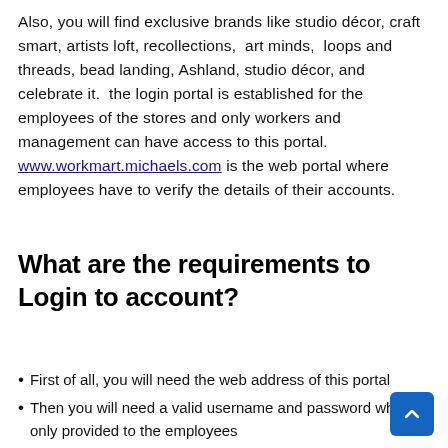Also, you will find exclusive brands like studio décor, craft smart, artists loft, recollections, art minds, loops and threads, bead landing, Ashland, studio décor, and celebrate it. the login portal is established for the employees of the stores and only workers and management can have access to this portal. www.workmart.michaels.com is the web portal where employees have to verify the details of their accounts.
What are the requirements to Login to account?
First of all, you will need the web address of this portal
Then you will need a valid username and password which is only provided to the employees